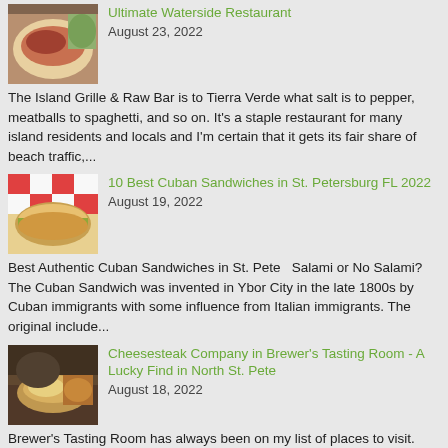[Figure (photo): Food photo showing a meat/charcuterie plate with greens]
Ultimate Waterside Restaurant
August 23, 2022
The Island Grille & Raw Bar is to Tierra Verde what salt is to pepper, meatballs to spaghetti, and so on. It's a staple restaurant for many island residents and locals and I'm certain that it gets its fair share of beach traffic,...
[Figure (photo): Photo of a Cuban sandwich on checkered paper]
10 Best Cuban Sandwiches in St. Petersburg FL 2022
August 19, 2022
Best Authentic Cuban Sandwiches in St. Pete   Salami or No Salami? The Cuban Sandwich was invented in Ybor City in the late 1800s by Cuban immigrants with some influence from Italian immigrants. The original include...
[Figure (photo): Photo of a cheesesteak sandwich in a tasting room setting]
Cheesesteak Company in Brewer's Tasting Room - A Lucky Find in North St. Pete
August 18, 2022
Brewer's Tasting Room has always been on my list of places to visit. Especially since I heard they served